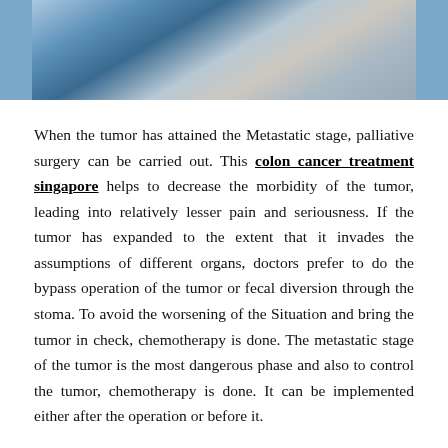[Figure (photo): Medical/surgical scene with medical professionals in blue scrubs/gowns, partially visible at the top of the page]
When the tumor has attained the Metastatic stage, palliative surgery can be carried out. This colon cancer treatment singapore helps to decrease the morbidity of the tumor, leading into relatively lesser pain and seriousness. If the tumor has expanded to the extent that it invades the assumptions of different organs, doctors prefer to do the bypass operation of the tumor or fecal diversion through the stoma. To avoid the worsening of the Situation and bring the tumor in check, chemotherapy is done. The metastatic stage of the tumor is the most dangerous phase and also to control the tumor, chemotherapy is done. It can be implemented either after the operation or before it.
Radiotherapy and immunotherapy are other effective treatments for colorectal cancer. Usually, radiotherapy is not used for colon cancer. It is difficult to target the specific region